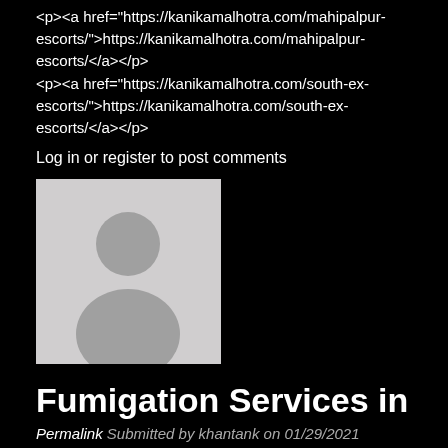<p><a href="https://kanikamalhotra.com/mahipalpur-escorts/">https://kanikamalhotra.com/mahipalpur-escorts/</a></p>
<p><a href="https://kanikamalhotra.com/south-ex-escorts/">https://kanikamalhotra.com/south-ex-escorts/</a></p>
Log in or register to post comments
[Figure (photo): Default user avatar placeholder - grey silhouette on light grey background]
Fumigation Services in
Permalink Submitted by khantank on 01/29/2021
Fumigation Services in Karachi
termite proofing in karachi
karachi fumigation
water tank cleaning in karachi